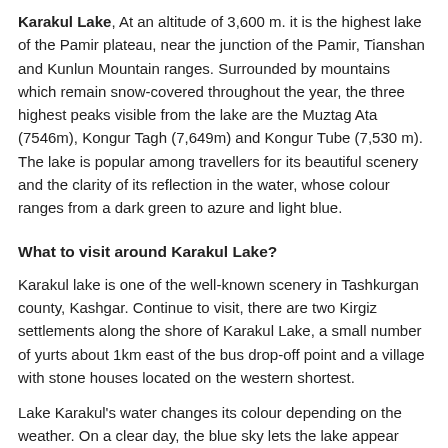Karakul Lake, At an altitude of 3,600 m. it is the highest lake of the Pamir plateau, near the junction of the Pamir, Tianshan and Kunlun Mountain ranges. Surrounded by mountains which remain snow-covered throughout the year, the three highest peaks visible from the lake are the Muztag Ata (7546m), Kongur Tagh (7,649m) and Kongur Tube (7,530 m). The lake is popular among travellers for its beautiful scenery and the clarity of its reflection in the water, whose colour ranges from a dark green to azure and light blue.
What to visit around Karakul Lake?
Karakul lake is one of the well-known scenery in Tashkurgan county, Kashgar. Continue to visit, there are two Kirgiz settlements along the shore of Karakul Lake, a small number of yurts about 1km east of the bus drop-off point and a village with stone houses located on the western shortest.
Lake Karakul's water changes its colour depending on the weather. On a clear day, the blue sky lets the lake appear blue and azure. And a cloudy day makes the water look dark because of the